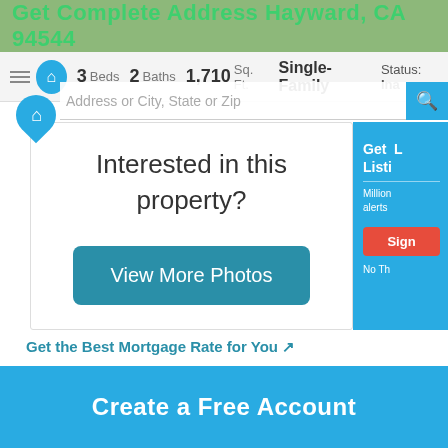Get Complete Address Hayward, CA 94544
3 Beds  2 Baths  1,710 Sq. Ft.  Single-Family  Status: Ina
Interested in this property?
View More Photos
Get Listi
Million alerts
Sign
No Th
Get the Best Mortgage Rate for You
Create a Free Account